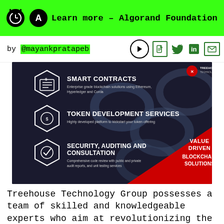Learn more – Algorand Foundation
by @mayankpratapeb
[Figure (infographic): Treehouse Technology Group infographic showing three blockchain services: Smart Contracts (Enterprise grade blockchain solutions using Ethereum, Hyperledger and Corda), Token Development Services (Highly developed platform to kickstart your token offering), Security, Auditing and Consultation (Comprehensive code review with public and private audit reports, and unit testing services). Red triangle with 'VALUE DRIVEN BLOCKCHAIN SOLUTIONS' text.]
Treehouse Technology Group possesses a team of skilled and knowledgeable experts who aim at revolutionizing the workings of blockchain industry. It